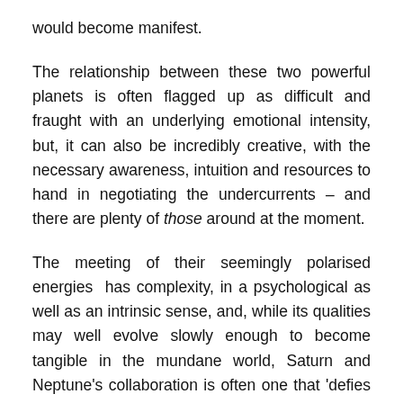would become manifest.
The relationship between these two powerful planets is often flagged up as difficult and fraught with an underlying emotional intensity, but, it can also be incredibly creative, with the necessary awareness, intuition and resources to hand in negotiating the undercurrents – and there are plenty of those around at the moment.
The meeting of their seemingly polarised energies has complexity, in a psychological as well as an intrinsic sense, and, while its qualities may well evolve slowly enough to become tangible in the mundane world, Saturn and Neptune's collaboration is often one that 'defies the definitive' and operates through psychological and emotional dynamics. It can, if not registered consciously invoke a kind of archetypal torque that manifests as a